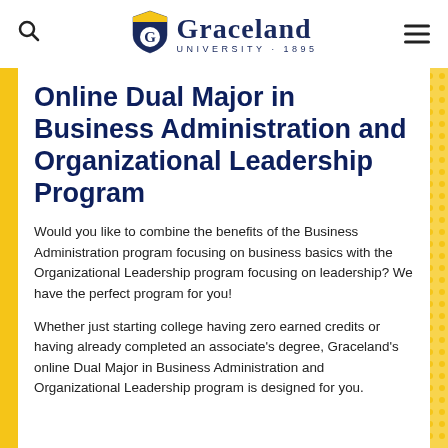[Figure (logo): Graceland University logo with shield and text 'Graceland UNIVERSITY 1895']
Online Dual Major in Business Administration and Organizational Leadership Program
Would you like to combine the benefits of the Business Administration program focusing on business basics with the Organizational Leadership program focusing on leadership? We have the perfect program for you!
Whether just starting college having zero earned credits or having already completed an associate's degree, Graceland's online Dual Major in Business Administration and Organizational Leadership program is designed for you.